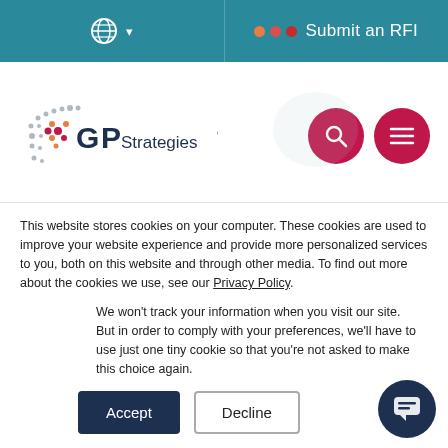[Figure (screenshot): GP Strategies website screenshot showing top navigation bar with globe/language selector and Submit an RFI button, logo header with search and menu icons, partial article text about financial results, and cookie consent banner with Accept and Decline buttons]
Submit an RFI
[Figure (logo): GP Strategies logo with dot-pattern globe graphic]
solutions, management consulting, engineering and technical services through its principal operating subsidiary General Physics Corporation, today reported financial results for the quarter ended March
This website stores cookies on your computer. These cookies are used to improve your website experience and provide more personalized services to you, both on this website and through other media. To find out more about the cookies we use, see our Privacy Policy.
We won't track your information when you visit our site. But in order to comply with your preferences, we'll have to use just one tiny cookie so that you're not asked to make this choice again.